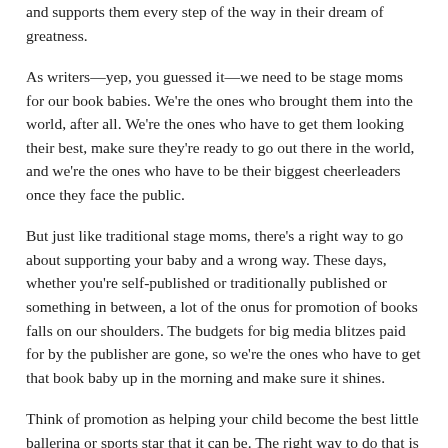and supports them every step of the way in their dream of greatness.
As writers—yep, you guessed it—we need to be stage moms for our book babies. We're the ones who brought them into the world, after all. We're the ones who have to get them looking their best, make sure they're ready to go out there in the world, and we're the ones who have to be their biggest cheerleaders once they face the public.
But just like traditional stage moms, there's a right way to go about supporting your baby and a wrong way. These days, whether you're self-published or traditionally published or something in between, a lot of the onus for promotion of books falls on our shoulders. The budgets for big media blitzes paid for by the publisher are gone, so we're the ones who have to get that book baby up in the morning and make sure it shines.
Think of promotion as helping your child become the best little ballerina or sports star that it can be. The right way to do that is to know your industry, to research what audition